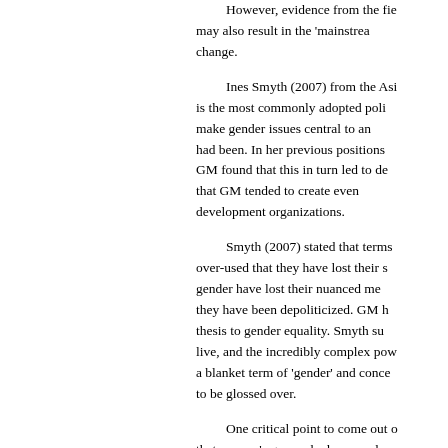However, evidence from the field may also result in the 'mainstreaming' change.
Ines Smyth (2007) from the Asia is the most commonly adopted policy make gender issues central to an organization had been. In her previous positions GM found that this in turn led to deeper that GM tended to create even development organizations.
Smyth (2007) stated that terms over-used that they have lost their significance gender have lost their nuanced meanings they have been depoliticized. GM has thesis to gender equality. Smyth suggests live, and the incredibly complex power a blanket term of 'gender' and concerns to be glossed over.
One critical point to come out of that women's groups had opposed inequalities could also be mainstreamed programs are preferred to avoid this that women-specific programs would